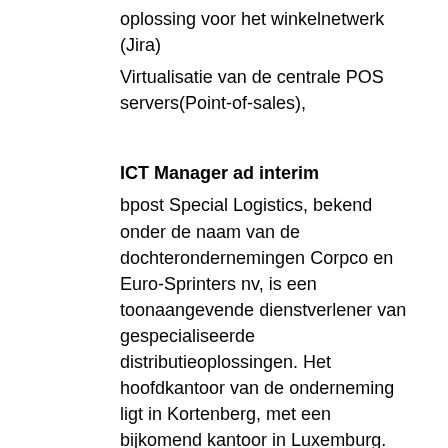oplossing voor het winkelnetwerk (Jira)
Virtualisatie van de centrale POS servers(Point-of-sales),
ICT Manager ad interim
bpost Special Logistics, bekend onder de naam van de dochterondernemingen Corpco en Euro-Sprinters nv, is een toonaangevende dienstverlener van gespecialiseerde distributieoplossingen. Het hoofdkantoor van de onderneming ligt in Kortenberg, met een bijkomend kantoor in Luxemburg.
De missie van bpost Special Logistics is: klanten helpen de kloven in hun supply chain te dichten door middel van flexibele (niet-standaard) distributieoplossingen en aanvullende dienstverlening.